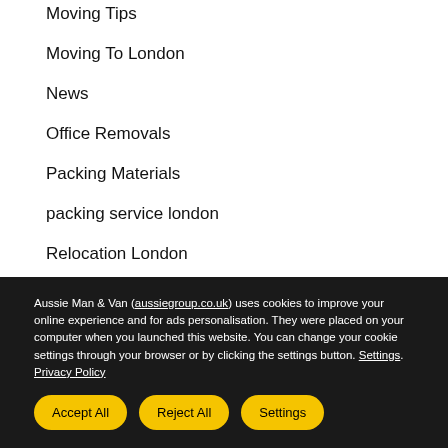Moving Tips
Moving To London
News
Office Removals
Packing Materials
packing service london
Relocation London
Aussie Man & Van (aussiegroup.co.uk) uses cookies to improve your online experience and for ads personalisation. They were placed on your computer when you launched this website. You can change your cookie settings through your browser or by clicking the settings button. Settings. Privacy Policy
Accept All | Reject All | Settings